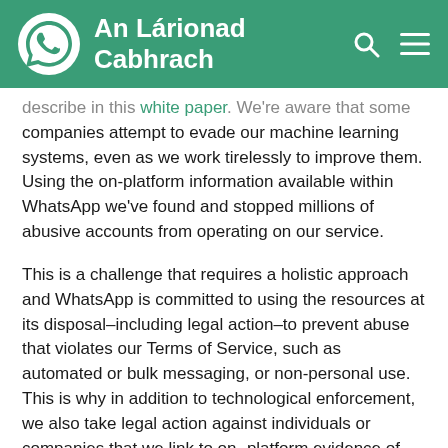An Lárionad Cabhrach
describe in this white paper. We're aware that some companies attempt to evade our machine learning systems, even as we work tirelessly to improve them. Using the on-platform information available within WhatsApp we've found and stopped millions of abusive accounts from operating on our service.
This is a challenge that requires a holistic approach and WhatsApp is committed to using the resources at its disposal–including legal action–to prevent abuse that violates our Terms of Service, such as automated or bulk messaging, or non-personal use. This is why in addition to technological enforcement, we also take legal action against individuals or companies that we link to on-platform evidence of such abuse. WhatsApp reserves its right to continue taking legal action in such circumstances.